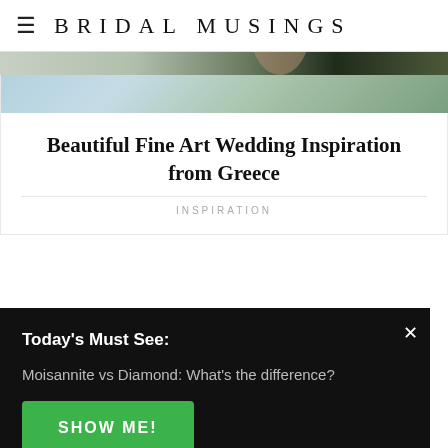≡  BRIDAL MUSINGS
[Figure (photo): Top portion of a wedding photo from Greece, showing soft blue and green tones]
Beautiful Fine Art Wedding Inspiration from Greece
INSPIRATION
[Figure (photo): Second wedding photo showing a bride with dark hair against a green leafy background]
We use cookies to optimize our website and our
Today's Must See:
Moisannite vs Diamond: What's the difference?
SHOW ME!